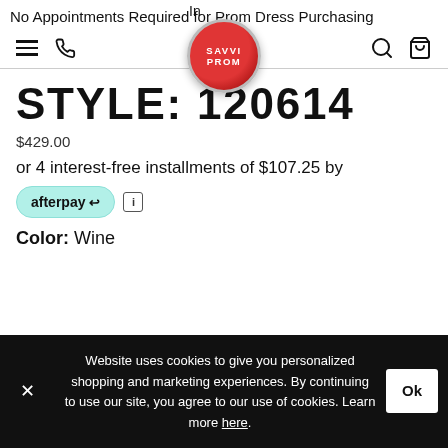No Appointments Required for Prom Dress Purchasing
[Figure (logo): Savvi Prom circular logo — red badge with white text SAVVI PROM]
STYLE: 120614
$429.00
or 4 interest-free installments of $107.25 by
[Figure (logo): Afterpay logo badge in teal/mint rounded pill shape with afterpay and arrow icon, followed by a small info icon]
Color: Wine
Website uses cookies to give you personalized shopping and marketing experiences. By continuing to use our site, you agree to our use of cookies. Learn more here.